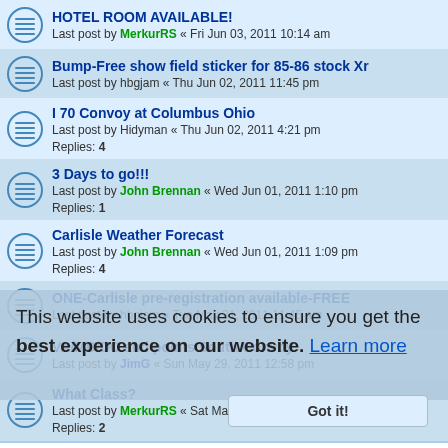HOTEL ROOM AVAILABLE! — Last post by MerkurRS « Fri Jun 03, 2011 10:14 am
Bump-Free show field sticker for 85-86 stock Xr — Last post by hbgjam « Thu Jun 02, 2011 11:45 pm
I 70 Convoy at Columbus Ohio — Last post by Hidyman « Thu Jun 02, 2011 4:21 pm — Replies: 4
3 Days to go!!! — Last post by John Brennan « Wed Jun 01, 2011 1:10 pm — Replies: 1
Carlisle Weather Forecast — Last post by John Brennan « Wed Jun 01, 2011 1:09 pm — Replies: 4
ONE-Carlisle pre-registration available-FREE — Last post by hbgjam « Tue May 31, 2011 11:45 am
VA/MD/DC and points South Convoy — Last post by JimG « Sun May 29, 2011 12:58 pm
What Class? — Last post by MerkurRS « Sat May 28, 2011 8:25 am — Replies: 2
10 Days to go!!! — Last post by SVO4PWR2 « Tue May 24, 2011 10:47 pm — Replies: 1
3 Weeks to Go!!! — Last post by DPDISXR4Ti « Fri May 13, 2011 9:49 am